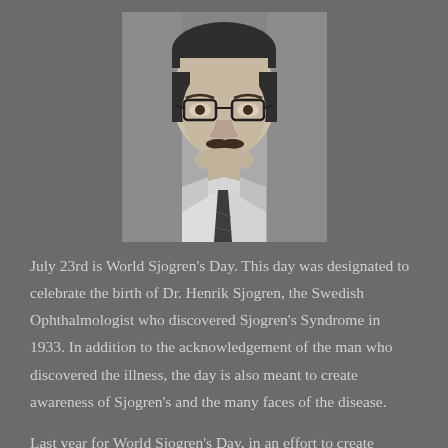[Figure (photo): Black and white portrait photograph of Dr. Henrik Sjogren, an older man wearing glasses, a white coat, and a dark tie, shown from shoulders up.]
July 23rd is World Sjogren's Day. This day was designated to celebrate the birth of Dr. Henrik Sjogren, the Swedish Ophthalmologist who discovered Sjogren's Syndrome in 1933. In addition to the acknowledgement of the man who discovered the illness, the day is also meant to create awareness of Sjogren's and the many faces of the disease.
Last year for World Sjogren's Day, in an effort to create